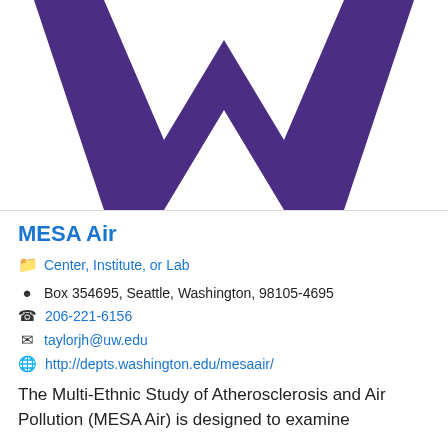[Figure (logo): Large purple University of Washington W logo on white background]
MESA Air
Center, Institute, or Lab
Box 354695, Seattle, Washington, 98105-4695
206-221-6156
taylorjh@uw.edu
http://depts.washington.edu/mesaair/
The Multi-Ethnic Study of Atherosclerosis and Air Pollution (MESA Air) is designed to examine